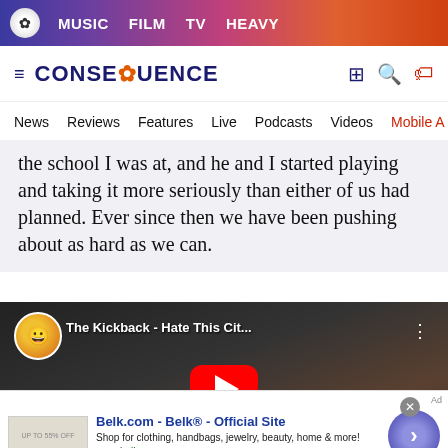MUSIC  FILM  TV  HEAVY
CONSEQUENCE  News  Reviews  Features  Live  Podcasts  Videos  Mobile A
the school I was at, and he and I started playing and taking it more seriously than either of us had planned. Ever since then we have been pushing about as hard as we can.
[Figure (screenshot): YouTube video embed showing 'The Kickback - Hate This Cit...' with red play button on dark background]
[Figure (screenshot): Advertisement for Belk.com - Belk Official Site. Shop for clothing, handbags, jewelry, beauty, home & more! www.belk.com]